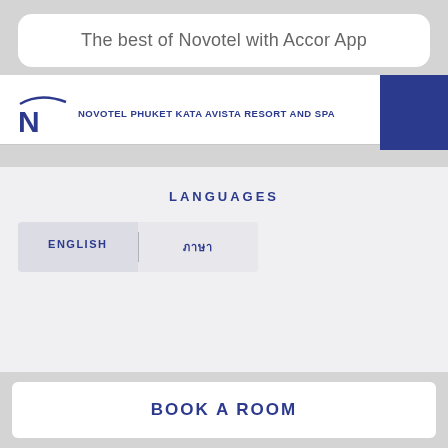The best of Novotel with Accor App
NOVOTEL PHUKET KATA AVISTA RESORT AND SPA
LANGUAGES
ENGLISH
ภาษาไทย
BOOK A ROOM